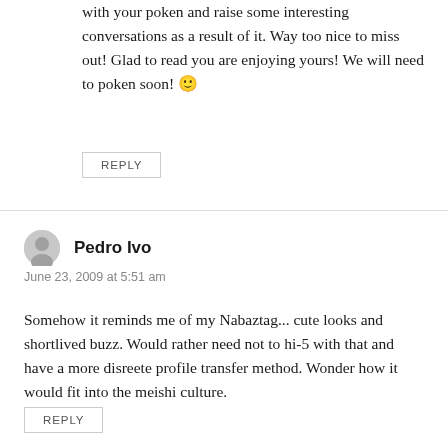with your poken and raise some interesting conversations as a result of it. Way too nice to miss out! Glad to read you are enjoying yours! We will need to poken soon! 🙂
REPLY
Pedro Ivo
June 23, 2009 at 5:51 am
Somehow it reminds me of my Nabaztag... cute looks and shortlived buzz. Would rather need not to hi-5 with that and have a more disreete profile transfer method. Wonder how it would fit into the meishi culture.
REPLY